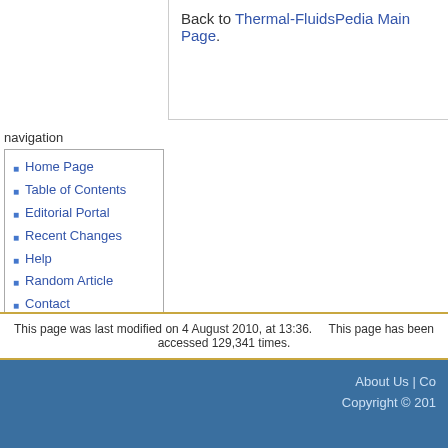Back to Thermal-FluidsPedia Main Page.
navigation
Home Page
Table of Contents
Editorial Portal
Recent Changes
Help
Random Article
Contact
About Thermal-FluidsPedia
search
This page was last modified on 4 August 2010, at 13:36.    This page has been accessed 129,341 times.
About Us | Co...    Copyright © 201...